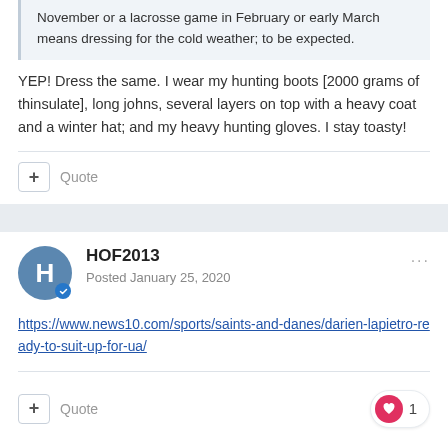November or a lacrosse game in February or early March means dressing for the cold weather; to be expected.
YEP!  Dress the same. I wear my hunting boots [2000 grams of thinsulate], long johns, several layers on top with a heavy coat and a winter hat; and my heavy hunting gloves.  I stay toasty!
HOF2013
Posted January 25, 2020
https://www.news10.com/sports/saints-and-danes/darien-lapietro-ready-to-suit-up-for-ua/